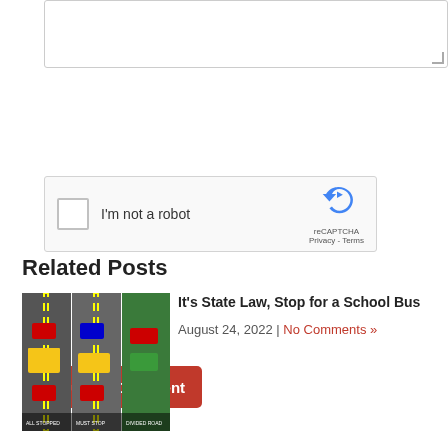[Figure (screenshot): Text area input box (partially visible, bottom portion)]
[Figure (screenshot): reCAPTCHA widget with checkbox labeled 'I'm not a robot', reCAPTCHA logo, Privacy and Terms links]
[Figure (screenshot): Red 'Submit Comment' button]
Related Posts
[Figure (illustration): School bus stop diagram showing three traffic lanes with cars stopped for a school bus]
It's State Law, Stop for a School Bus
August 24, 2022 | No Comments »